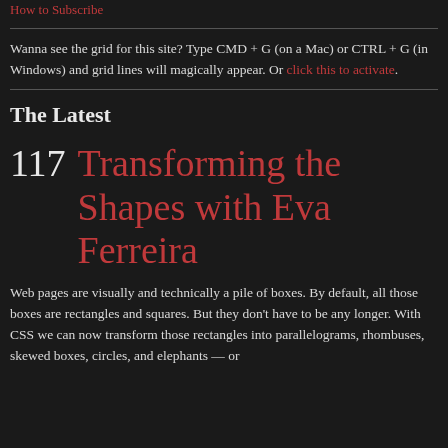How to Subscribe
Wanna see the grid for this site? Type CMD + G (on a Mac) or CTRL + G (in Windows) and grid lines will magically appear. Or click this to activate.
The Latest
117  Transforming the Shapes with Eva Ferreira
Web pages are visually and technically a pile of boxes. By default, all those boxes are rectangles and squares. But they don't have to be any longer. With CSS we can now transform those rectangles into parallelograms, rhombuses, skewed boxes, circles, and elephants — or